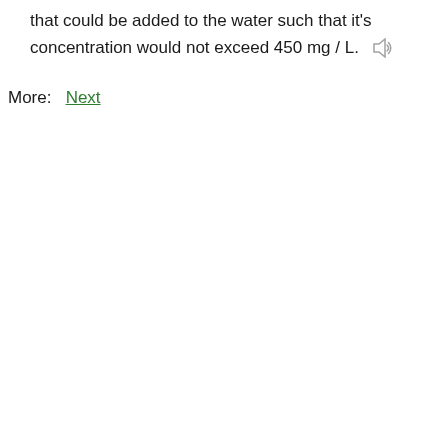that could be added to the water such that it's concentration would not exceed 450 mg / L.
More:  Next